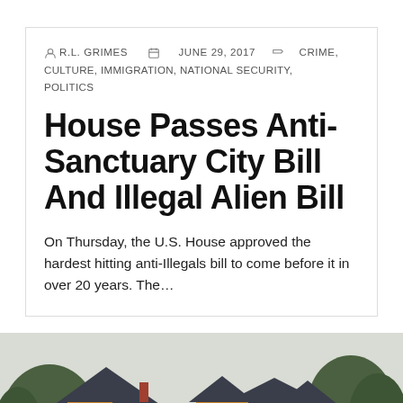R.L. GRIMES   JUNE 29, 2017   CRIME, CULTURE, IMMIGRATION, NATIONAL SECURITY, POLITICS
House Passes Anti-Sanctuary City Bill And Illegal Alien Bill
On Thursday, the U.S. House approved the hardest hitting anti-Illegals bill to come before it in over 20 years. The…
[Figure (photo): Photograph of a house with a dark triangular roof, yellow/orange wooden siding, dormers with windows, and trees in the background.]